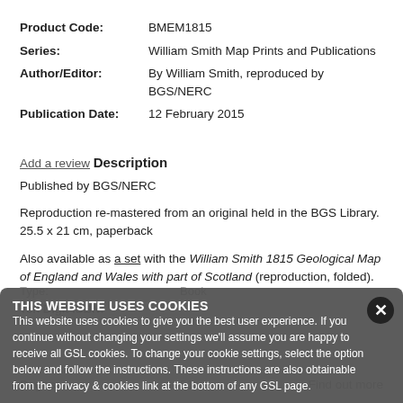| Product Code: | BMEM1815 |
| Series: | William Smith Map Prints and Publications |
| Author/Editor: | By William Smith, reproduced by BGS/NERC |
| Publication Date: | 12 February 2015 |
Add a review
Description
Published by BGS/NERC
Reproduction re-mastered from an original held in the BGS Library. 25.5 x 21 cm, paperback
Also available as a set with the William Smith 1815 Geological Map of England and Wales with part of Scotland (reproduction, folded).
Type:
Book
Ten Digit ISBN:
Pages:
51
Find out more
THIS WEBSITE USES COOKIES
This website uses cookies to give you the best user experience. If you continue without changing your settings we'll assume you are happy to receive all GSL cookies. To change your cookie settings, select the option below and follow the instructions. These instructions are also obtainable from the privacy & cookies link at the bottom of any GSL page.